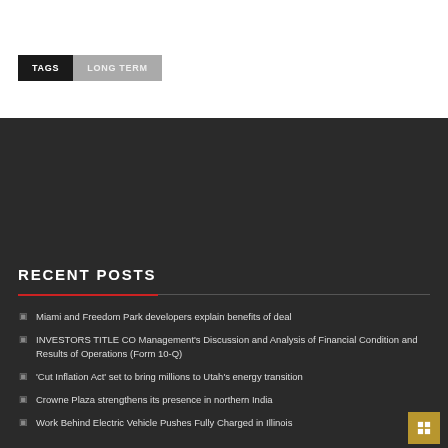TAGS
LONG TERM
RECENT POSTS
Miami and Freedom Park developers explain benefits of deal
INVESTORS TITLE CO Management's Discussion and Analysis of Financial Condition and Results of Operations (Form 10-Q)
'Cut Inflation Act' set to bring millions to Utah's energy transition
Crowne Plaza strengthens its presence in northern India
Work Behind Electric Vehicle Pushes Fully Charged in Illinois
ARCHIVES